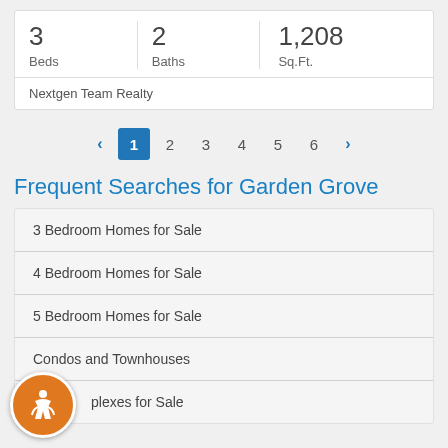| Beds | Baths | Sq.Ft. |
| --- | --- | --- |
| 3 | 2 | 1,208 |
Nextgen Team Realty
< 1 2 3 4 5 6 >
Frequent Searches for Garden Grove
3 Bedroom Homes for Sale
4 Bedroom Homes for Sale
5 Bedroom Homes for Sale
Condos and Townhouses
...plexes for Sale